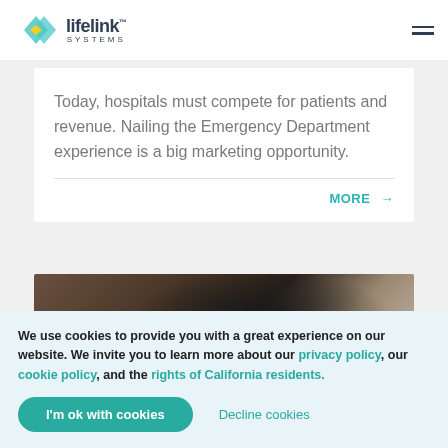lifelink SYSTEMS
Today, hospitals must compete for patients and revenue. Nailing the Emergency Department experience is a big marketing opportunity.
MORE →
[Figure (photo): Close-up photo of a stethoscope resting on a surface, partial view showing the chest piece and tubing.]
We use cookies to provide you with a great experience on our website. We invite you to learn more about our privacy policy, our cookie policy, and the rights of California residents.
I'm ok with cookies   Decline cookies